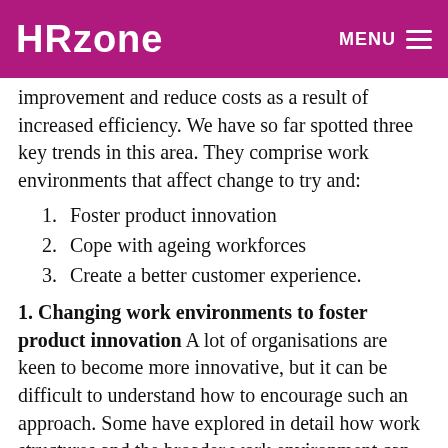HRzone MENU
improvement and reduce costs as a result of increased efficiency. We have so far spotted three key trends in this area. They comprise work environments that affect change to try and:
1. Foster product innovation
2. Cope with ageing workforces
3. Create a better customer experience.
1. Changing work environments to foster product innovation
A lot of organisations are keen to become more innovative, but it can be difficult to understand how to encourage such an approach. Some have explored in detail how work structures and the broader work environment can make a